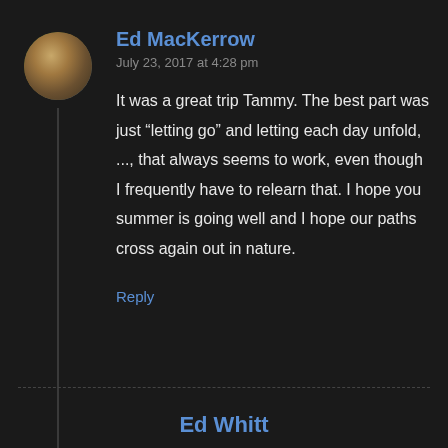Ed MacKerrow
July 23, 2017 at 4:28 pm
It was a great trip Tammy. The best part was just “letting go” and letting each day unfold, ..., that always seems to work, even though I frequently have to relearn that. I hope you summer is going well and I hope our paths cross again out in nature.
Reply
Ed Whitt